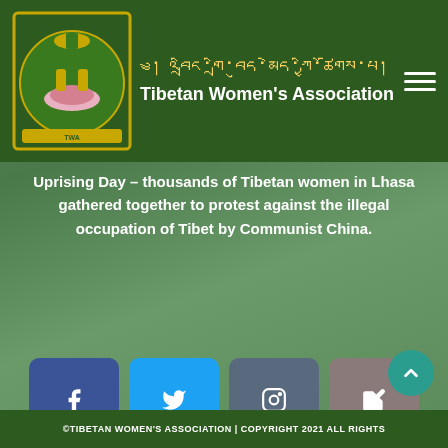[Figure (logo): Tibetan Women's Association logo — circular emblem with lotus, figures, and ornate border in green and gold]
Tibetan Women's Association
Uprising Day – thousands of Tibetan women in Lhasa gathered together to protest against the illegal occupation of Tibet by Communist China.
[Figure (infographic): Four social share buttons: Facebook (5K), Twitter (0), Instagram (0), Share (671)]
©TIBETAN WOMEN'S ASSOCIATION | COPYRIGHT 2021 ALL RIGHTS